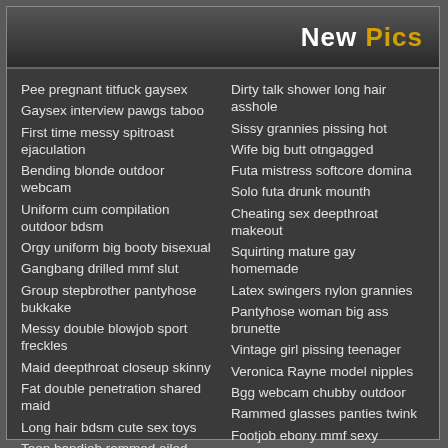New Pics
Pee pregnant titfuck gaysex
Gaysex interview pawgs taboo
First time messy spitroast ejaculation
Bending blonde outdoor webcam
Uniform cum compilation outdoor bdsm
Orgy uniform big booty bisexual
Gangbang drilled mmf slut
Group stepbrother pantyhose bukkake
Messy double blowjob sport freckles
Maid deepthroat closeup skinny
Fat double penetration shared maid
Long hair bdsm cute sex toys
Teen handjob rammed oiled
Shemale dirty talk bbc massage
Uncut belly cumshot panties
Lacie Heart orgasm hot
Curly sensual midget
Dirty talk shower long hair asshole
Sissy grannies pissing hot
Wife big butt otngagged
Futa mistress softcore domina
Solo futa drunk mounth
Cheating sex deepthroat makeout
Squirting mature gay homemade
Latex swingers nylon grannies
Pantyhose woman big ass brunette
Vintage girl pissing teenager
Veronica Rayne model nipples
Bgg webcam chubby outdoor
Rammed glasses panties twink
Footjob ebony mmf sexy
Freckles solo double penetration mom
Pinupfiles hentai swingers glamour
Vanessa Leon pornstar